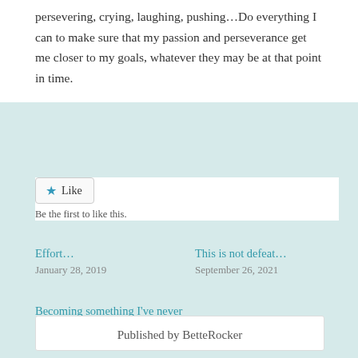persevering, crying, laughing, pushing…Do everything I can to make sure that my passion and perseverance get me closer to my goals, whatever they may be at that point in time.
★ Like
Be the first to like this.
Effort…
January 28, 2019
This is not defeat…
September 26, 2021
Becoming something I've never been…
March 23, 2019
Published by BetteRocker